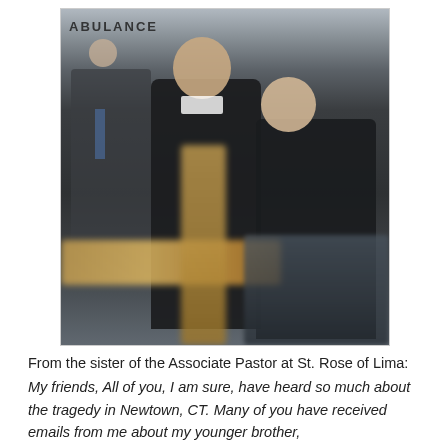[Figure (photo): Photograph of clergy members in black attire standing outdoors. A younger priest stands in the center foreground looking ahead, while an older man in black wipes his eye with a tissue. A man in a suit speaking on a phone is visible in the background left. A blurred wooden cross and vehicle are visible in the foreground.]
From the sister of the Associate Pastor at St. Rose of Lima:
My friends, All of you, I am sure, have heard so much about the tragedy in Newtown, CT. Many of you have received emails from me about my younger brother, Father John Roos who is associate at St. Rose of Lima: